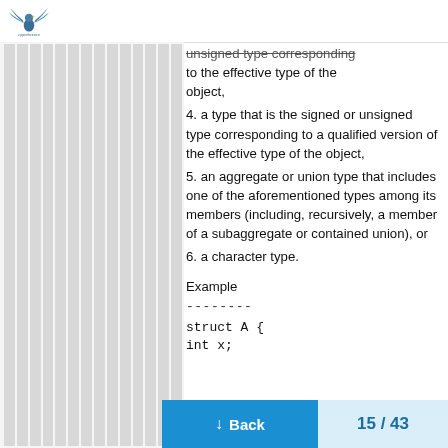[Logo]
unsigned type corresponding to the effective type of the object,
4. a type that is the signed or unsigned type corresponding to a qualified version of the effective type of the object,
5. an aggregate or union type that includes one of the aforementioned types among its members (including, recursively, a member of a subaggregate or contained union), or
6. a character type.
Example
--------
struct A {
int x;